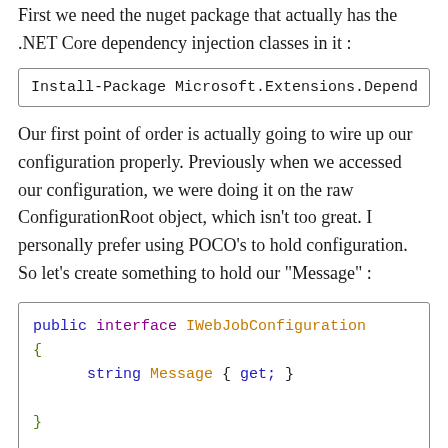First we need the nuget package that actually has the .NET Core dependency injection classes in it :
Install-Package Microsoft.Extensions.Depend
Our first point of order is actually going to wire up our configuration properly. Previously when we accessed our configuration, we were doing it on the raw ConfigurationRoot object, which isn't too great. I personally prefer using POCO's to hold configuration. So let's create something to hold our "Message" :
public interface IWebJobConfiguration
{
    string Message { get; }
}

public class WebJobConfiguration : IWebJobC